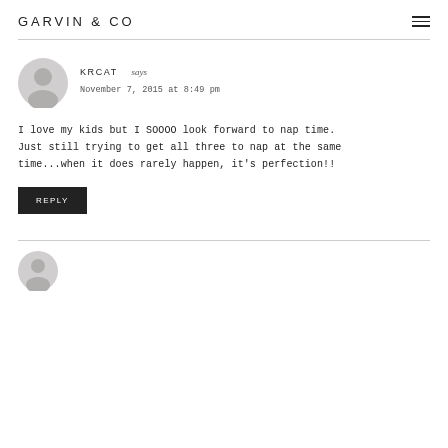GARVIN & CO
KRCAT says
November 7, 2015 at 8:49 pm
I love my kids but I SOOOO look forward to nap time. Just still trying to get all three to nap at the same time...when it does rarely happen, it's perfection!!
REPLY